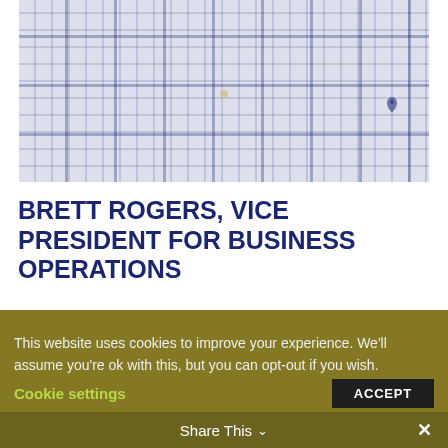[Figure (photo): Close-up photo of a blue and white plaid/checkered dress shirt with a small logo on the chest]
BRETT ROGERS, VICE PRESIDENT FOR BUSINESS OPERATIONS
Brett Rogers serves Duotech as Vice President for Business Operations. He joined the team in 2010 after earning his undergraduate degree from Cedarville University OH in Business Operations.
This website uses cookies to improve your experience. We'll assume you're ok with this, but you can opt-out if you wish.
Cookie settings  ACCEPT
Share This